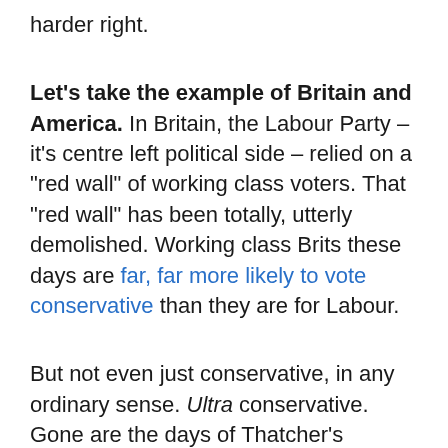harder right.
Let's take the example of Britain and America. In Britain, the Labour Party – it's centre left political side – relied on a "red wall" of working class voters. That "red wall" has been totally, utterly demolished. Working class Brits these days are far, far more likely to vote conservative than they are for Labour.
But not even just conservative, in any ordinary sense. Ultra conservative. Gone are the days of Thatcher's methodical, pragmatic cost-cutting – which, disagree with it if you like, wasn't completely malicious, ideological, corrupt, and